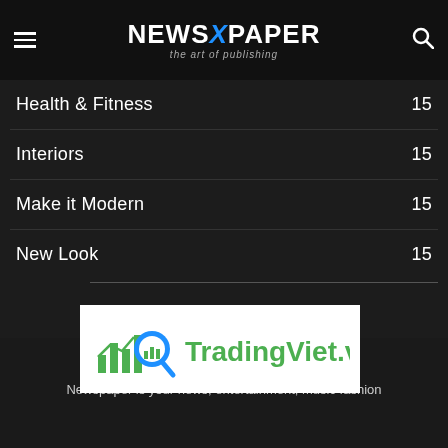NEWSPAPER — the art of publishing
Health & Fitness  15
Interiors  15
Make it Modern  15
New Look  15
[Figure (logo): TradingViet.vn logo with chart and magnifying glass icon]
ABOUT US
Newspaper is your news, entertainment, music fashion